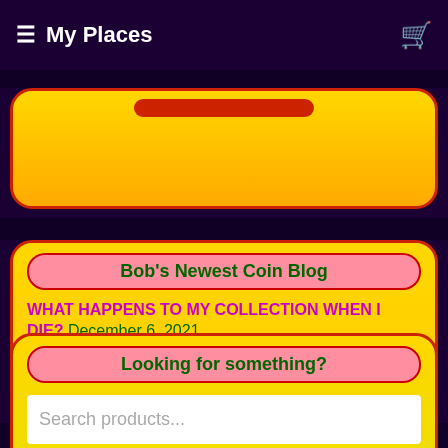≡ My Places
Bob's Newest Coin Blog
WHAT HAPPENS TO MY COLLECTION WHEN I DIE? December 6, 2021
Looking for something?
Search products...
Search